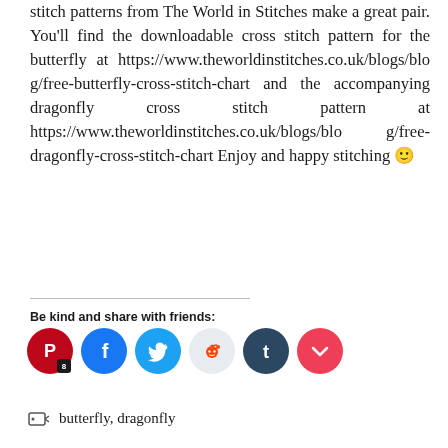stitch patterns from The World in Stitches make a great pair. You'll find the downloadable cross stitch pattern for the butterfly at https://www.theworldinstitches.co.uk/blogs/blog/free-butterfly-cross-stitch-chart and the accompanying dragonfly cross stitch pattern at https://www.theworldinstitches.co.uk/blogs/blog/free-dragonfly-cross-stitch-chart Enjoy and happy stitching 🙂
Be kind and share with friends:
[Figure (infographic): Row of social media share buttons: Pinterest (with badge '8'), Facebook, Twitter, Reddit, Tumblr, Pocket]
🏷 butterfly, dragonfly